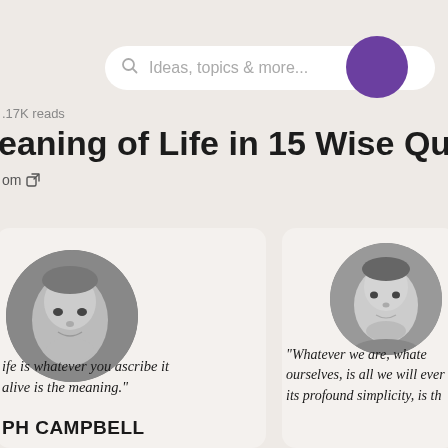[Figure (screenshot): Search bar with magnifying glass icon and placeholder text 'Ideas, topics & more...' on a light beige background, with a purple circle button on the right side]
.17K reads
eaning of Life in 15 Wise Quotes
om
[Figure (photo): Black and white circular portrait photo of an older man, partially cropped on the left]
[Figure (photo): Black and white circular portrait photo of a younger man on the right side card]
“ife is whatever you ascribe it
alive is the meaning.”
“Whatever we are, whate
ourselves, is all we will ever
its profound simplicity, is th
PH CAMPBELL